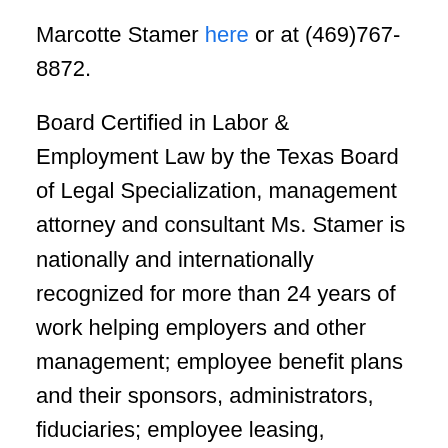Marcotte Stamer here or at (469)767-8872.
Board Certified in Labor & Employment Law by the Texas Board of Legal Specialization, management attorney and consultant Ms. Stamer is nationally and internationally recognized for more than 24 years of work helping employers and other management; employee benefit plans and their sponsors, administrators, fiduciaries; employee leasing, recruiting, staffing and other professional employment organizations; and others design, administer and defend innovative workforce, compensation, employee benefit  and management policies and practices. Her experience includes extensive work helping employers implement, audit, manage and defend union-management relations, wage and hour, discrimination and other labor and employment laws, as well as to recruit, integrate, hire, train and retain employees, engage, develop and terminate employees, maintain workplace safety, manage and resolve employee relations matters, and comply with other requirements.